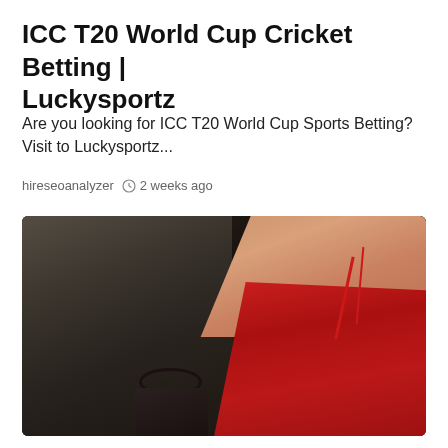ICC T20 World Cup Cricket Betting | Luckysportz
Are you looking for ICC T20 World Cup Sports Betting? Visit to Luckysportz...
hireseoanalyzer   2 weeks ago
[Figure (photo): A woman wearing a red spaghetti-strap dress, photographed from the neck down, with blonde hair visible. Background shows chairs and dark surroundings.]